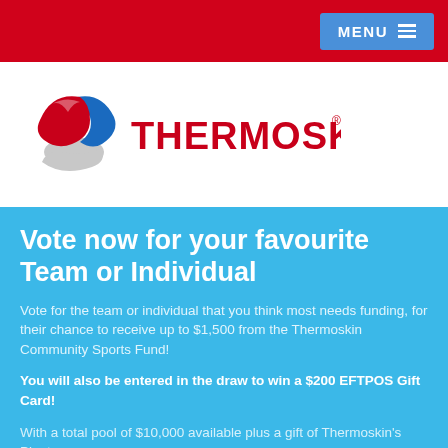MENU
[Figure (logo): Thermoskin logo: a stylized swoosh shape in red, blue and silver/grey, next to the text THERMOSKIN in bold red capital letters with a registered trademark symbol]
Vote now for your favourite Team or Individual
Vote for the team or individual that you think most needs funding, for their chance to receive up to $1,500 from the Thermoskin Community Sports Fund!
You will also be entered in the draw to win a $200 EFTPOS Gift Card!
With a total pool of $10,000 available plus a gift of Thermoskin's Planter